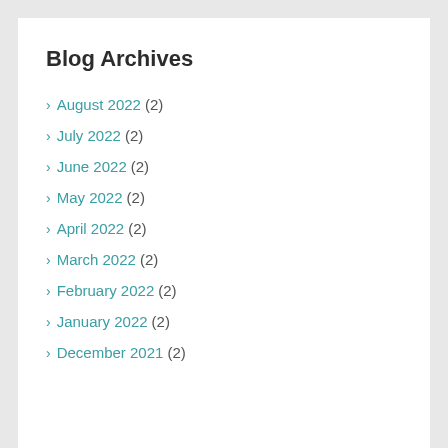Blog Archives
> August 2022 (2)
> July 2022 (2)
> June 2022 (2)
> May 2022 (2)
> April 2022 (2)
> March 2022 (2)
> February 2022 (2)
> January 2022 (2)
> December 2021 (2)